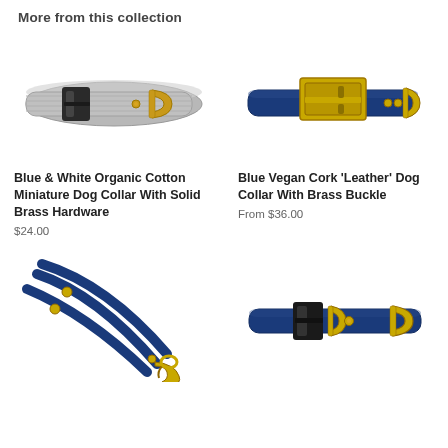More from this collection
[Figure (photo): Gray fabric dog collar with black plastic buckle and brass D-ring hardware]
[Figure (photo): Blue vegan cork leather dog collar with large gold brass buckle]
Blue & White Organic Cotton Miniature Dog Collar With Solid Brass Hardware
$24.00
Blue Vegan Cork 'Leather' Dog Collar With Brass Buckle
From $36.00
[Figure (photo): Blue vegan cork leather dog leash with brass snap hook and rivets]
[Figure (photo): Blue fabric dog collar with black plastic buckle and brass D-ring hardware]